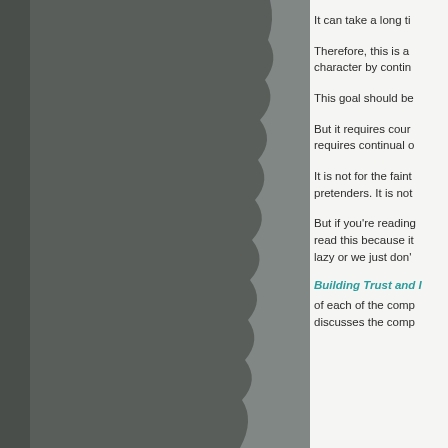[Figure (photo): Dark gray/charcoal colored background photo on the left portion of the page with a torn paper edge effect on the right side of the image]
It can take a long ti
Therefore, this is a character by contin
This goal should be
But it requires cour requires continual o
It is not for the faint pretenders. It is not
But if you're reading read this because it lazy or we just don'
Building Trust and I
of each of the comp discusses the comp